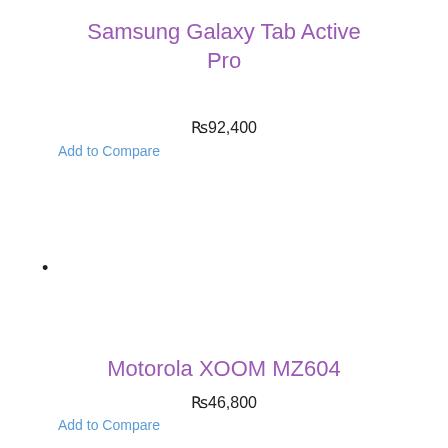Samsung Galaxy Tab Active Pro
₨92,400
Add to Compare
•
Motorola XOOM MZ604
₨46,800
Add to Compare